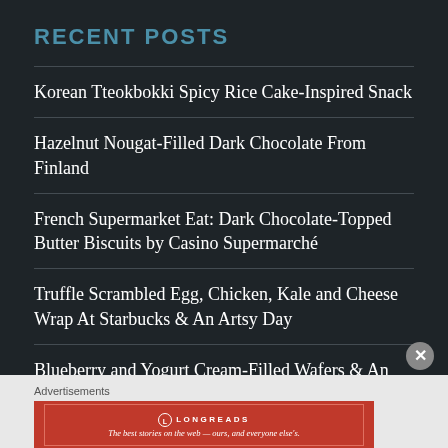RECENT POSTS
Korean Tteokbokki Spicy Rice Cake-Inspired Snack
Hazelnut Nougat-Filled Dark Chocolate From Finland
French Supermarket Eat: Dark Chocolate-Topped Butter Biscuits by Casino Supermarché
Truffle Scrambled Egg, Chicken, Kale and Cheese Wrap At Starbucks & An Artsy Day
Blueberry and Yogurt Cream-Filled Wafers & An
Advertisements
[Figure (other): Longreads advertisement banner: The best stories on the web — ours, and everyone else's.]